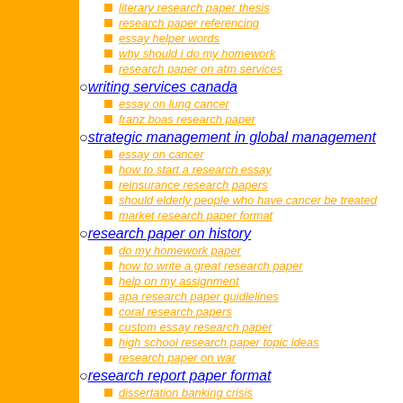literary research paper thesis
research paper referencing
essay helper words
why should i do my homework
research paper on atm services
writing services canada
essay on lung cancer
franz boas research paper
strategic management in global management
essay on cancer
how to start a research essay
reinsurance research papers
should elderly people who have cancer be treated
market research paper format
research paper on history
do my homework paper
how to write a great research paper
help on my assignment
apa research paper guidlelines
coral research papers
custom essay research paper
high school research paper topic ideas
research paper on war
research report paper format
dissertation banking crisis